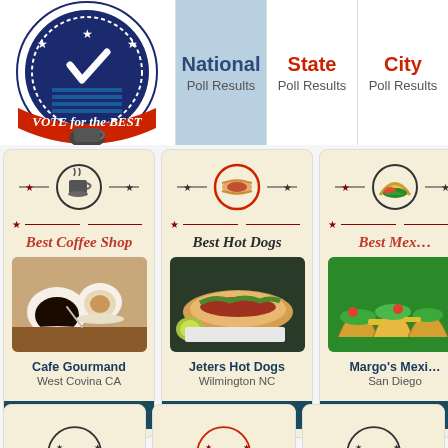[Figure (logo): Vote for the Best badge logo with stars and check mark]
National Poll Results
State Poll Results
City Poll Results
[Figure (infographic): Best Coffee Shop card - Cafe Gourmand, West Covina CA with coffee cup photo and SEE TOP 10 button]
[Figure (infographic): Best Hot Dogs card - Jeters Hot Dogs, Wilmington NC with hot dog photo and SEE TOP 10 button]
[Figure (infographic): Best Mexican card - Margo's Mexican, San Diego with tacos photo and SEE TOP 10 button]